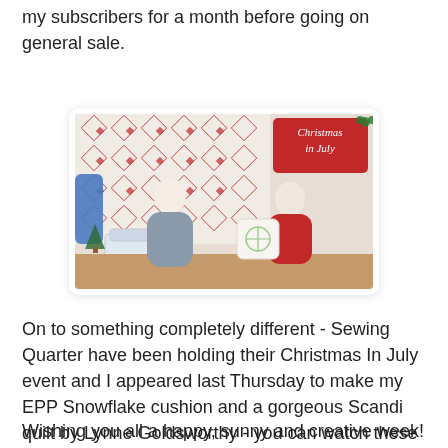my subscribers for a month before going on general sale.
[Figure (photo): Two women at a craft table with a sewing machine. The background shows a red and white quilted pattern. A red Christmas In July sign is visible in the upper right. One woman wears grey, the other wears red. A decorative pillow with a snowflake design is visible on the right.]
On to something completely different - Sewing Quarter have been holding their Christmas In July event and I appeared last Thursday to make my EPP Snowflake cushion and a gorgeous Scandi quilt by Lynne Goldsworthy - you can watch these shows and catch up on my past appearances here.
Wishing you all a happy, sunny and creative week!